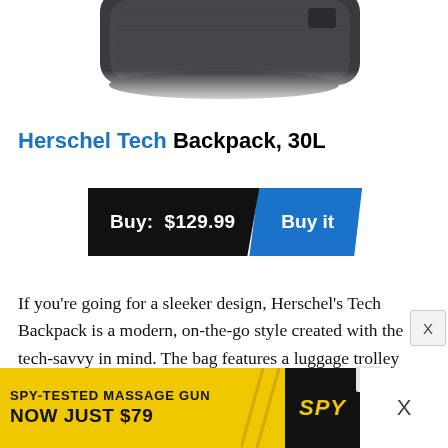[Figure (photo): Partial top view of a dark grey Herschel Tech Backpack against a white background]
Herschel Tech Backpack, 30L
[Figure (infographic): Buy button: black parallelogram with 'Buy: $129.99' and blue parallelogram with 'Buy it']
If you're going for a sleeker design, Herschel's Tech Backpack is a modern, on-the-go style created with the tech-savvy in mind. The bag features a luggage trolley
[Figure (infographic): Advertisement banner: SPY-TESTED MASSAGE GUN NOW JUST $79 with SPY logo on yellow background]